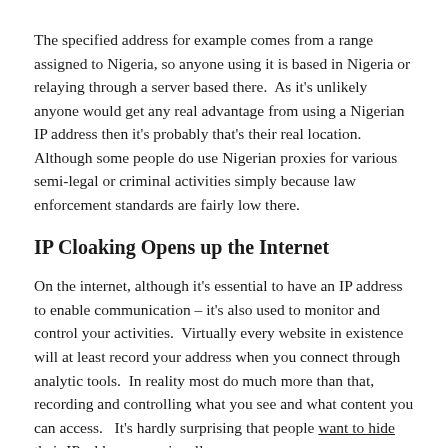The specified address for example comes from a range assigned to Nigeria, so anyone using it is based in Nigeria or relaying through a server based there.  As it's unlikely anyone would get any real advantage from using a Nigerian IP address then it's probably that's their real location.  Although some people do use Nigerian proxies for various semi-legal or criminal activities simply because law enforcement standards are fairly low there.
IP Cloaking Opens up the Internet
On the internet, although it's essential to have an IP address to enable communication – it's also used to monitor and control your activities.  Virtually every website in existence will at least record your address when you connect through analytic tools.  In reality most do much more than that, recording and controlling what you see and what content you can access.   It's hardly surprising that people want to hide their IP address occasionally.